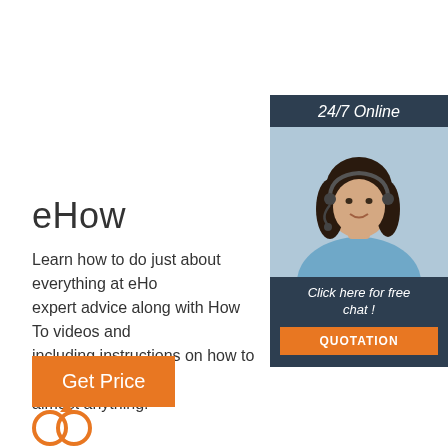[Figure (other): Chat widget with woman wearing headset, '24/7 Online' header, 'Click here for free chat!' text, and orange QUOTATION button]
eHow
Learn how to do just about everything at eHow. Find expert advice along with How To videos and articles, including instructions on how to make, cook, grow, or do almost anything.
[Figure (other): Orange 'Get Price' button]
[Figure (other): Orange TOP icon with dots above the word TOP]
[Figure (logo): Partial logo at bottom left]